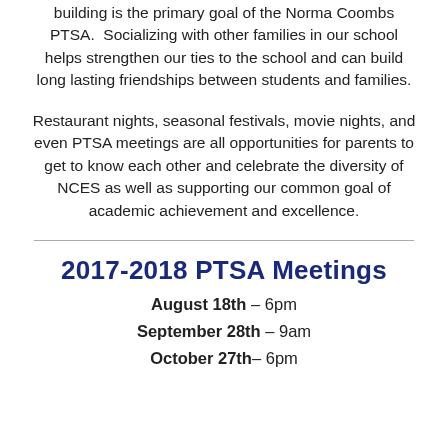building is the primary goal of the Norma Coombs PTSA.  Socializing with other families in our school helps strengthen our ties to the school and can build long lasting friendships between students and families.
Restaurant nights, seasonal festivals, movie nights, and even PTSA meetings are all opportunities for parents to get to know each other and celebrate the diversity of NCES as well as supporting our common goal of academic achievement and excellence.
2017-2018 PTSA Meetings
August 18th – 6pm
September 28th – 9am
October 27th– 6pm